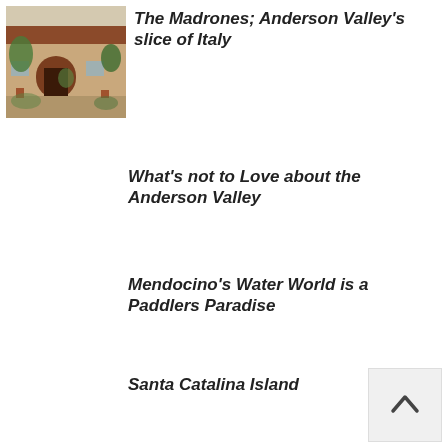[Figure (photo): Exterior photo of a building with archway, plants, and terracotta roof tiles — winery or Italian-style property]
The Madrones; Anderson Valley's slice of Italy
What's not to Love about the Anderson Valley
Mendocino's Water World is a Paddlers Paradise
Santa Catalina Island